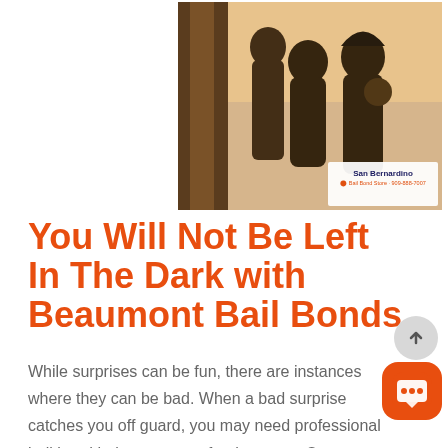[Figure (photo): Photo banner showing a family (woman with children) outdoors near a tree, with a San Bernardino bail bond store logo overlay in the bottom right corner.]
You Will Not Be Left In The Dark with Beaumont Bail Bonds
While surprises can be fun, there are instances where they can be bad. When a bad surprise catches you off guard, you may need professional bail bond help to recover for the event. One example would be if your tire goes flat